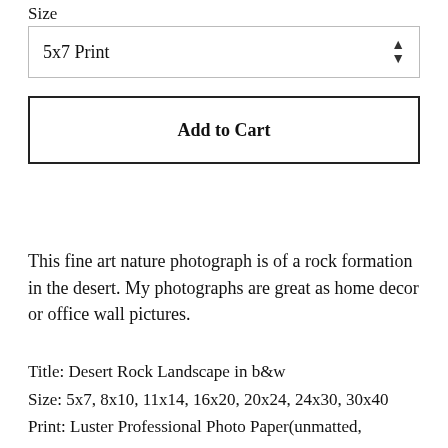Size
5x7 Print
Add to Cart
This fine art nature photograph is of a rock formation in the desert. My photographs are great as home decor or office wall pictures.
Title: Desert Rock Landscape in b&w
Size: 5x7, 8x10, 11x14, 16x20, 20x24, 24x30, 30x40
Print: Luster Professional Photo Paper(unmatted,